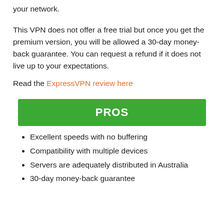your network.
This VPN does not offer a free trial but once you get the premium version, you will be allowed a 30-day money-back guarantee. You can request a refund if it does not live up to your expectations.
Read the ExpressVPN review here
PROS
Excellent speeds with no buffering
Compatibility with multiple devices
Servers are adequately distributed in Australia
30-day money-back guarantee